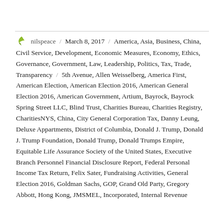nilspeace / March 8, 2017 / America, Asia, Business, China, Civil Service, Development, Economic Measures, Economy, Ethics, Governance, Government, Law, Leadership, Politics, Tax, Trade, Transparency / 5th Avenue, Allen Weisselberg, America First, American Election, American Election 2016, American General Election 2016, American Government, Artium, Bayrock, Bayrock Spring Street LLC, Blind Trust, Charities Bureau, Charities Registry, CharitiesNYS, China, City General Corporation Tax, Danny Leung, Deluxe Appartments, District of Columbia, Donald J. Trump, Donald J. Trump Foundation, Donald Trump, Donald Trumps Empire, Equitable Life Assurance Society of the United States, Executive Branch Personnel Financial Disclosure Report, Federal Personal Income Tax Return, Felix Sater, Fundraising Activities, General Election 2016, Goldman Sachs, GOP, Grand Old Party, Gregory Abbott, Hong Kong, JMSMEL, Incorporated, Internal Revenue